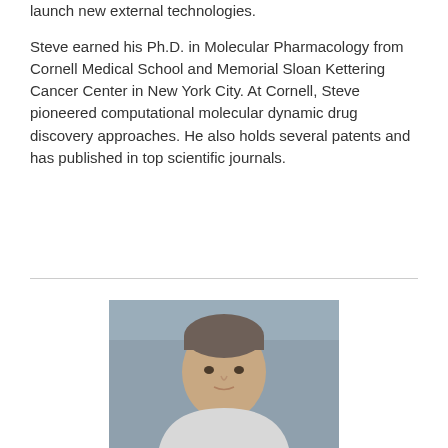launch new external technologies.
Steve earned his Ph.D. in Molecular Pharmacology from Cornell Medical School and Memorial Sloan Kettering Cancer Center in New York City. At Cornell, Steve pioneered computational molecular dynamic drug discovery approaches. He also holds several patents and has published in top scientific journals.
[Figure (photo): Headshot photo of a man with short gray-brown hair, wearing a light-colored shirt, photographed outdoors with blurred background. A scroll-to-top button (dark gray, with an upward chevron) is visible in the lower right.]